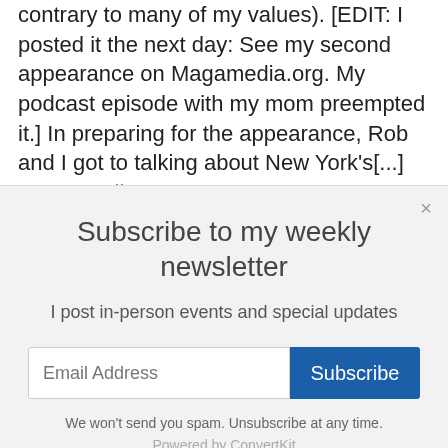contrary to many of my values). [EDIT: I posted it the next day: See my second appearance on Magamedia.org. My podcast episode with my mom preempted it.] In preparing for the appearance, Rob and I got to talking about New York's[...] Keep reading →
Subscribe to my weekly newsletter
I post in-person events and special updates
We won't send you spam. Unsubscribe at any time.
Powered by ConvertKit